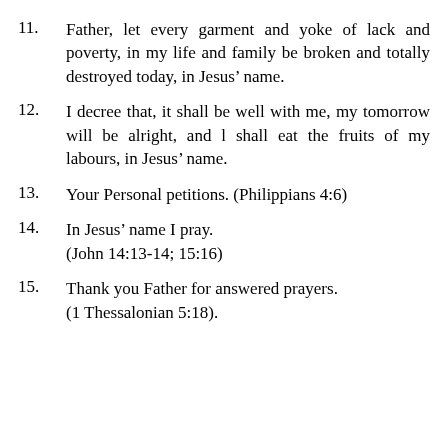11.   Father, let every garment and yoke of lack and poverty, in my life and family be broken and totally destroyed today, in Jesus’ name.
12.   I decree that, it shall be well with me, my tomorrow will be alright, and I shall eat the fruits of my labours, in Jesus’ name.
13.   Your Personal petitions. (Philippians 4:6)
14.   In Jesus’ name I pray. (John 14:13-14; 15:16)
15.   Thank you Father for answered prayers. (1 Thessalonian 5:18).